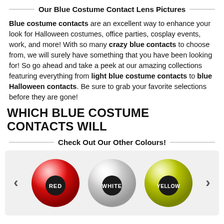Our Blue Costume Contact Lens Pictures
Blue costume contacts are an excellent way to enhance your look for Halloween costumes, office parties, cosplay events, work, and more! With so many crazy blue contacts to choose from, we will surely have something that you have been looking for! So go ahead and take a peek at our amazing collections featuring everything from light blue costume contacts to blue Halloween contacts. Be sure to grab your favorite selections before they are gone!
WHICH BLUE COSTUME CONTACTS WILL
Check Out Our Other Colours!
[Figure (illustration): Three colored contact lens balls: RED (red with black pupil), WHITE (white/grey with black pupil), YELLOW (yellow-green with black pupil), with left and right navigation arrows]